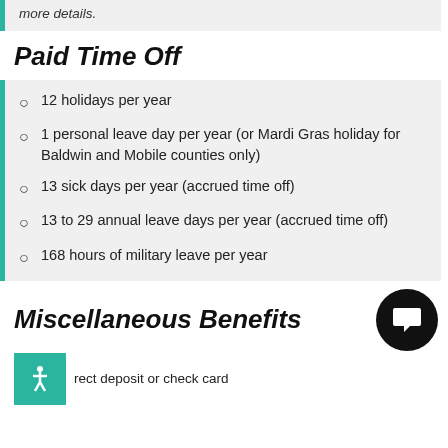more details.
Paid Time Off
12 holidays per year
1 personal leave day per year (or Mardi Gras holiday for Baldwin and Mobile counties only)
13 sick days per year (accrued time off)
13 to 29 annual leave days per year (accrued time off)
168 hours of military leave per year
Miscellaneous Benefits
rect deposit or check card